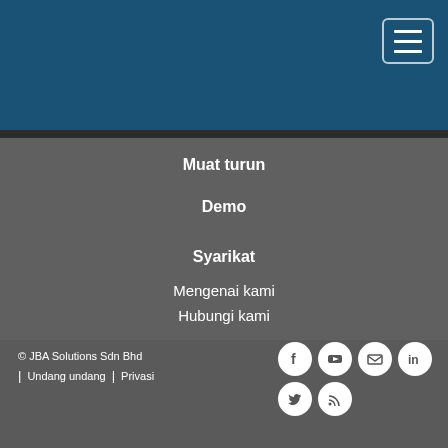Navigation menu header bar
Muat turun
Demo
Syarikat
Mengenai kami
Hubungi kami
© JBA Solutions Sdn Bhd | Undang undang | Privasi